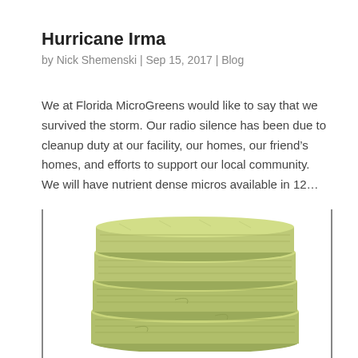Hurricane Irma
by Nick Shemenski | Sep 15, 2017 | Blog
We at Florida MicroGreens would like to say that we survived the storm. Our radio silence has been due to cleanup duty at our facility, our homes, our friend’s homes, and efforts to support our local community. We will have nutrient dense micros available in 12…
[Figure (photo): A stack of green rockwool growing medium pads stacked on top of each other, photographed against a white background.]